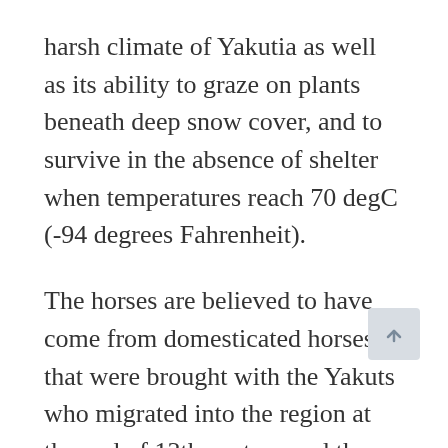harsh climate of Yakutia as well as its ability to graze on plants beneath deep snow cover, and to survive in the absence of shelter when temperatures reach 70 degC (-94 degrees Fahrenheit).
The horses are believed to have come from domesticated horses that were brought with the Yakuts who migrated into the region at the end of 13th century and they are not descendents of wild horses that were found in the region in Neolithic times.
These horses are small but are built well and are not too different in their body